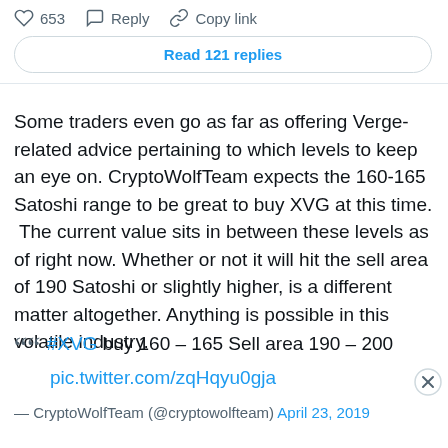[Figure (screenshot): Social media interaction bar showing heart icon with 653 likes, Reply button, and Copy link button, followed by a 'Read 121 replies' button]
Some traders even go as far as offering Verge-related advice pertaining to which levels to keep an eye on. CryptoWolfTeam expects the 160-165 Satoshi range to be great to buy XVG at this time. The current value sits in between these levels as of right now. Whether or not it will hit the sell area of 190 Satoshi or slightly higher, is a different matter altogether. Anything is possible in this volatile industry.
““ #XVG buy 160 – 165 Sell area 190 – 200 pic.twitter.com/zqHqyu0gja
— CryptoWolfTeam (@cryptowolfteam) April 23, 2019